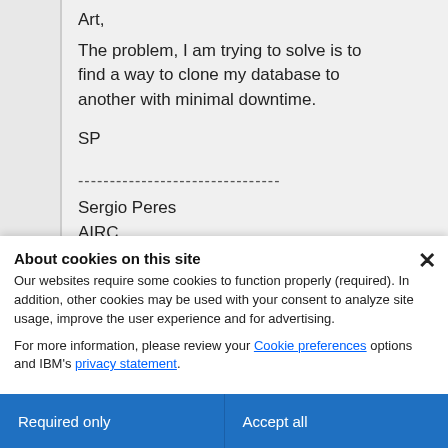Art,
The problem, I am trying to solve is to find a way to clone my database to another with minimal downtime.

SP

--------------------------------
Sergio Peres
AIRC
About cookies on this site
Our websites require some cookies to function properly (required). In addition, other cookies may be used with your consent to analyze site usage, improve the user experience and for advertising.

For more information, please review your Cookie preferences options and IBM's privacy statement.
Required only
Accept all